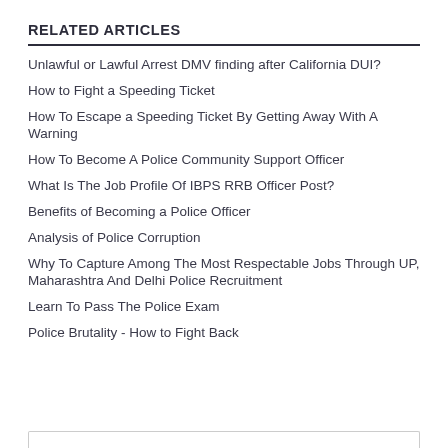RELATED ARTICLES
Unlawful or Lawful Arrest DMV finding after California DUI?
How to Fight a Speeding Ticket
How To Escape a Speeding Ticket By Getting Away With A Warning
How To Become A Police Community Support Officer
What Is The Job Profile Of IBPS RRB Officer Post?
Benefits of Becoming a Police Officer
Analysis of Police Corruption
Why To Capture Among The Most Respectable Jobs Through UP, Maharashtra And Delhi Police Recruitment
Learn To Pass The Police Exam
Police Brutality - How to Fight Back